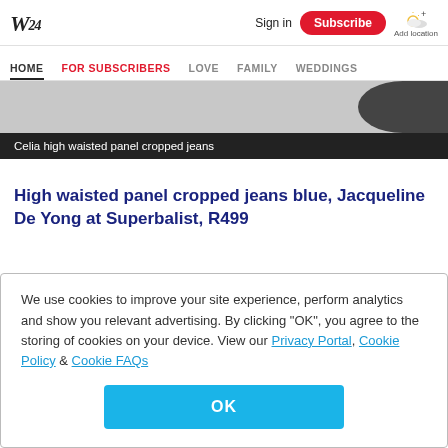W24 | Sign in | Subscribe | Add location
HOME | FOR SUBSCRIBERS | LOVE | FAMILY | WEDDINGS
[Figure (photo): Partial cropped photo of jeans, showing dark circular shape on right side against grey background]
Celia high waisted panel cropped jeans
High waisted panel cropped jeans blue, Jacqueline De Yong at Superbalist, R499
We use cookies to improve your site experience, perform analytics and show you relevant advertising. By clicking "OK", you agree to the storing of cookies on your device. View our Privacy Portal, Cookie Policy & Cookie FAQs